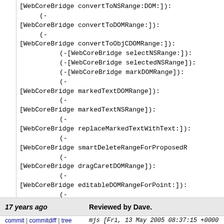[WebCoreBridge convertToNSRange:DOM:]):
    (-
[WebCoreBridge convertToDOMRange:]):
    (-
[WebCoreBridge convertToObjCDOMRange:]):
        (-[WebCoreBridge selectNSRange:]):
        (-[WebCoreBridge selectedNSRange]):
        (-[WebCoreBridge markDOMRange]):
        (-
[WebCoreBridge markedTextDOMRange]):
        (-
[WebCoreBridge markedTextNSRange]):
        (-
[WebCoreBridge replaceMarkedTextWithText:]):
        (-
[WebCoreBridge smartDeleteRangeForProposedR...
        (-
[WebCoreBridge dragCaretDOMRange]):
        (-
[WebCoreBridge editableDOMRangeForPoint:]):
        (-
[WebCoreBridge rangeOfCharactersAroundCaret...
git-svn-id: https://svn.webkit.org/repository/webkit/trunk@cd09-0410-ab3c-d52691b4dbfc
17 years ago
Reviewed by Dave.
commit | commitdiff | tree
mjs [Fri, 13 May 2005 08:37:15 +0000